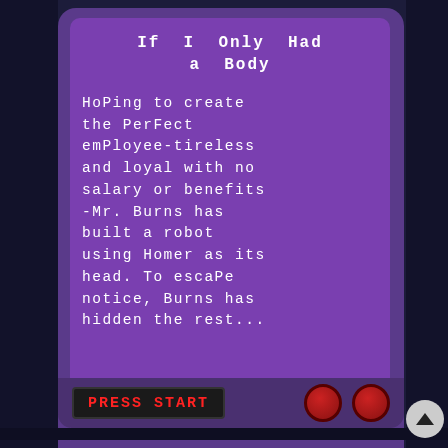[Figure (screenshot): Game Boy Advance or similar handheld game screenshot showing a Simpsons video game episode description screen. Top panel shows a purple pixelated text screen with title 'If I Only Had a Body' and episode description text about Mr. Burns building a robot using Homer as its head. A 'PRESS START' button in red on dark background is shown at the bottom of the top screen. Bottom panel shows continuation of the text about Homer's body parts throughout the nuclear plant.]